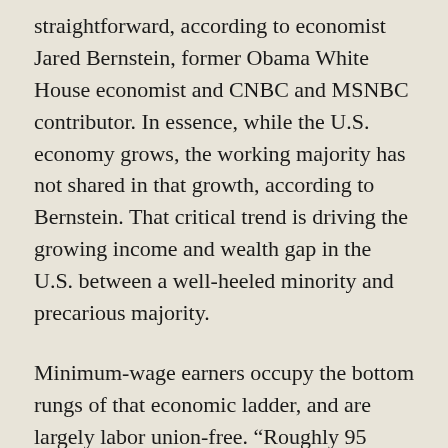straightforward, according to economist Jared Bernstein, former Obama White House economist and CNBC and MSNBC contributor. In essence, while the U.S. economy grows, the working majority has not shared in that growth, according to Bernstein. That critical trend is driving the growing income and wealth gap in the U.S. between a well-heeled minority and precarious majority.
Minimum-wage earners occupy the bottom rungs of that economic ladder, and are largely labor union-free. “Roughly 95 percent or more of the workers that would benefit from a minimum wage increase to $12 are not members of a labor union,” David Cooper, an EPI economist, said via email to Jewish Currents. In 2013, 11.3 percent of U.S. wage